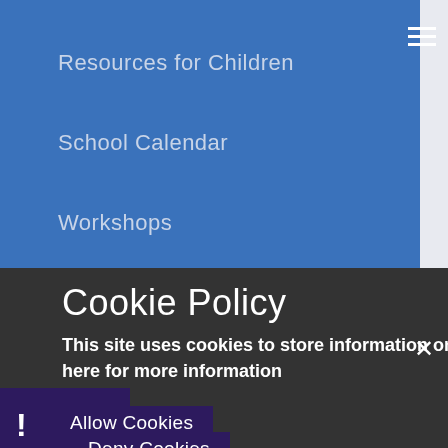Resources for Children
School Calendar
Workshops
Transition
Cookie Policy
This site uses cookies to store information on your computer. Click here for more information
Allow Cookies
Deny Cookies